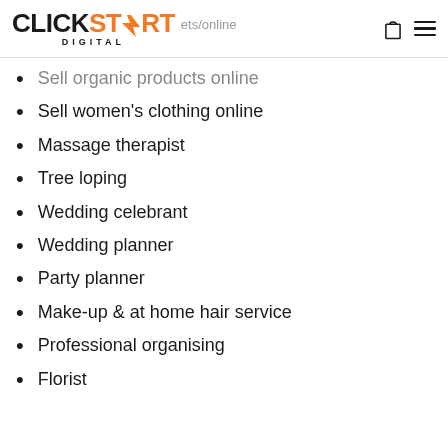CLICKSTART DIGITAL — ets/online
Sell organic products online
Sell women's clothing online
Massage therapist
Tree loping
Wedding celebrant
Wedding planner
Party planner
Make-up & at home hair service
Professional organising
Florist